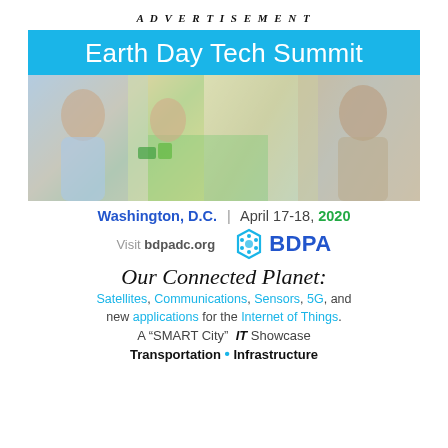ADVERTISEMENT
[Figure (infographic): Earth Day Tech Summit banner with blue header showing event title, collage of students doing tech/STEM activities, location and date info, BDPA logo, and event theme text about connected planet.]
Washington, D.C. | April 17-18, 2020
Visit bdpadc.org  BDPA
Our Connected Planet:
Satellites, Communications, Sensors, 5G, and new applications for the Internet of Things.
A “SMART City”  IT Showcase
Transportation • Infrastructure